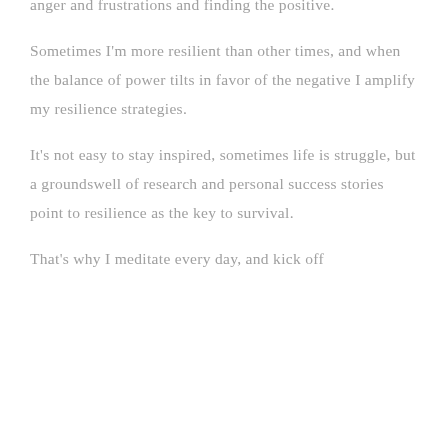and personal strategies like exercise, relaxation, exorcize anger and frustrations and finding the positive.
Sometimes I'm more resilient than other times, and when the balance of power tilts in favor of the negative I amplify my resilience strategies.
It's not easy to stay inspired, sometimes life is struggle, but a groundswell of research and personal success stories point to resilience as the key to survival.
That's why I meditate every day, and kick off